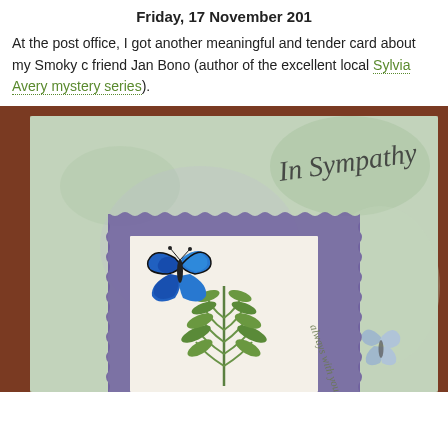Friday, 17 November 201
At the post office, I got another meaningful and tender card about my Smoky c... friend Jan Bono (author of the excellent local Sylvia Avery mystery series).
[Figure (photo): Photo of an 'In Sympathy' greeting card with calligraphic text, a blue butterfly on green fern leaves, purple torn-paper border, and 'always with you' text with a lighter blue butterfly, on a brown wooden background.]